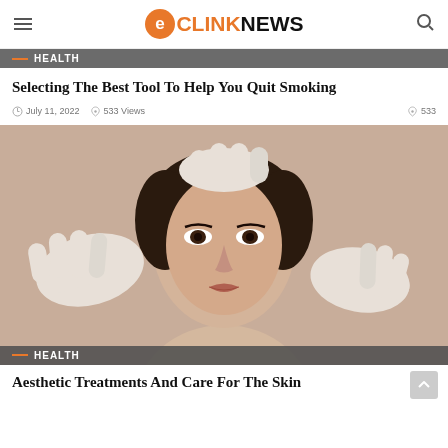eCLINKNEWS
HEALTH
Selecting The Best Tool To Help You Quit Smoking
July 11, 2022   533 Views   533
[Figure (photo): Woman's face being examined by gloved hands in a medical/cosmetic setting]
HEALTH
Aesthetic Treatments And Care For The Skin